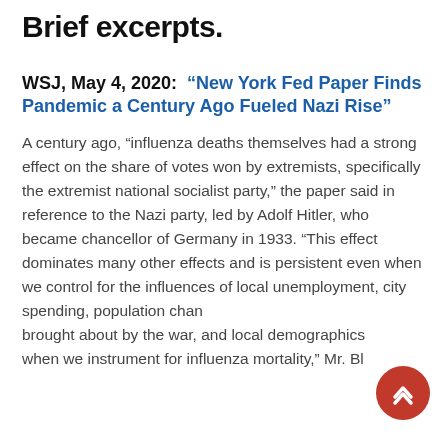Brief excerpts.
WSJ, May 4, 2020: "New York Fed Paper Finds Pandemic a Century Ago Fueled Nazi Rise"
A century ago, “influenza deaths themselves had a strong effect on the share of votes won by extremists, specifically the extremist national socialist party,” the paper said in reference to the Nazi party, led by Adolf Hitler, who became chancellor of Germany in 1933. “This effect dominates many other effects and is persistent even when we control for the influences of local unemployment, city spending, population changes brought about by the war, and local demographics, when we instrument for influenza mortality,” Mr. Bl—